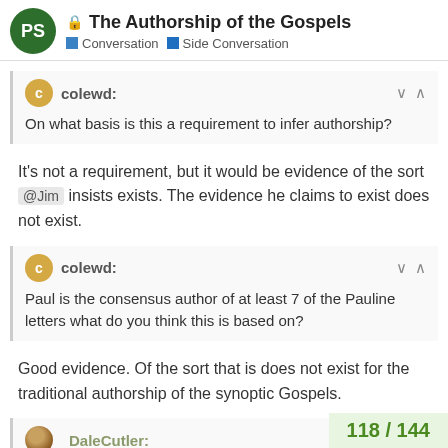The Authorship of the Gospels — Conversation | Side Conversation
colewd: On what basis is this a requirement to infer authorship?
It's not a requirement, but it would be evidence of the sort @Jim insists exists. The evidence he claims to exist does not exist.
colewd: Paul is the consensus author of at least 7 of the Pauline letters what do you think this is based on?
Good evidence. Of the sort that is does not exist for the traditional authorship of the synoptic Gospels.
DaleCutler: What would that prove? All a denier has
118 / 144